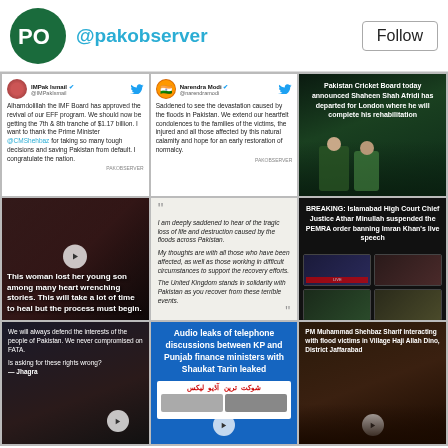@pakobserver — Follow
[Figure (screenshot): Tweet by IMPak Ismail: Alhamdolillah the IMF Board has approved the revival of our EFF program. We should now be getting the 7th & 8th tranche of $1.17 billion. I want to thank the Prime Minister @CMShehbaz for taking so many tough decisions and saving Pakistan from default. I congratulate the nation.]
[Figure (screenshot): Tweet by Narendra Modi: Saddened to see the devastation caused by the floods in Pakistan. We extend our heartfelt condolences to the families of the victims, the injured and all those affected by this natural calamity and hope for an early restoration of normalcy.]
[Figure (photo): Pakistan Cricket Board today announced Shaheen Shah Afridi has departed for London where he will complete his rehabilitation]
[Figure (photo): This woman lost her young son among many heart wrenching stories. This will take a lot of time to heal but the process must begin.]
[Figure (screenshot): Quote: I am deeply saddened to hear of the tragic loss of life and destruction caused by the floods across Pakistan. My thoughts are with all those who have been affected, as well as those working in difficult circumstances to support the recovery efforts. The United Kingdom stands in solidarity with Pakistan as you recover from these terrible events.]
[Figure (photo): BREAKING: Islamabad High Court Chief Justice Athar Minullah suspended the PEMRA order banning Imran Khan's live speech]
[Figure (photo): We will always defend the interests of the people of Pakistan. We never compromised on FATA. Is asking for these rights wrong? — Jhagra]
[Figure (photo): Audio leaks of telephone discussions between KP and Punjab finance ministers with Shaukat Tarin leaked]
[Figure (photo): PM Muhammad Shehbaz Sharif interacting with flood victims in Village Haji Allah Dino, District Jaffarabad]